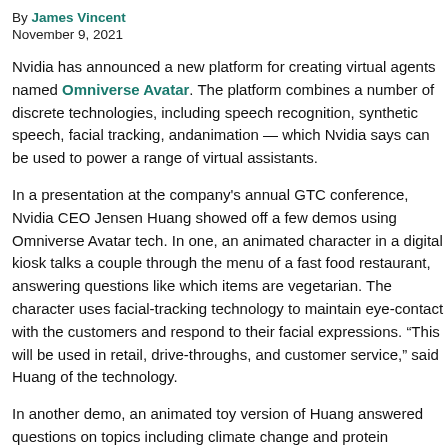By James Vincent
November 9, 2021
Nvidia has announced a new platform for creating virtual agents named Omniverse Avatar. The platform combines a number of discrete technologies, including speech recognition, synthetic speech, facial tracking, and animation — which Nvidia says can be used to power a range of virtual assistants.
In a presentation at the company's annual GTC conference, Nvidia CEO Jensen Huang showed off a few demos using Omniverse Avatar tech. In one, an animated character in a digital kiosk talks a couple through the menu of a fast food restaurant, answering questions like which items are vegetarian. The character uses facial-tracking technology to maintain eye-contact with the customers and respond to their facial expressions. "This will be used in restaurants, retail, drive-throughs, and customer service," said Huang of the technology.
In another demo, an animated toy version of Huang answered questions on topics including climate change and protein production, and in a third, someone used a realistic animated avatar of themselves as a stand-in during a video call. The caller was wearing casual clothes in a busy cafe, but their avatar was dressed smartly and spoke without any background noise impacting it. This last example builds on Nvidia's Project Maxine work, which aims to